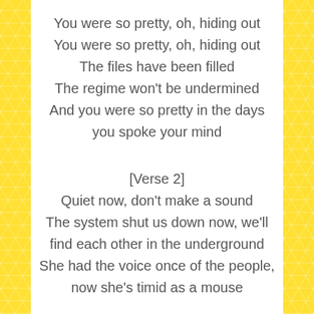You were so pretty, oh, hiding out
You were so pretty, oh, hiding out
The files have been filled
The regime won't be undermined
And you were so pretty in the days you spoke your mind
[Verse 2]
Quiet now, don't make a sound
The system shut us down now, we'll find each other in the underground
She had the voice once of the people, now she's timid as a mouse